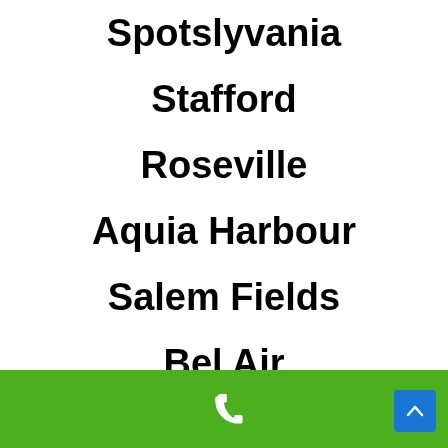Spotslyvania
Stafford
Roseville
Aquia Harbour
Salem Fields
Bel Air
Leeland